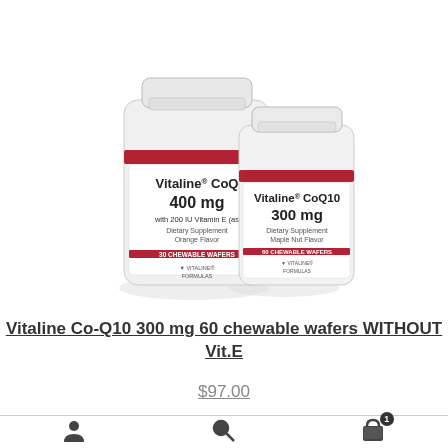[Figure (photo): Two white supplement bottles with red stripe labels: Vitaline CoQ 400 mg with 200 IU Vitamin E, Orange Flavor, 30 Chewable Wafers (larger, left) and Vitaline CoQ10 300 mg, Dietary Supplement, Maple Nut Flavor, 60 Chewable Wafers (smaller, right). Both show Vitaline Formulas logo.]
Vitaline Co-Q10 300 mg 60 chewable wafers WITHOUT Vit.E
$97.00